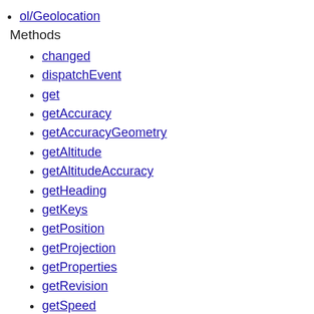ol/Geolocation
Methods
changed
dispatchEvent
get
getAccuracy
getAccuracyGeometry
getAltitude
getAltitudeAccuracy
getHeading
getKeys
getPosition
getProjection
getProperties
getRevision
getSpeed
getTracking
getTrackingOptions
on
once
set
setProjection
setProperties